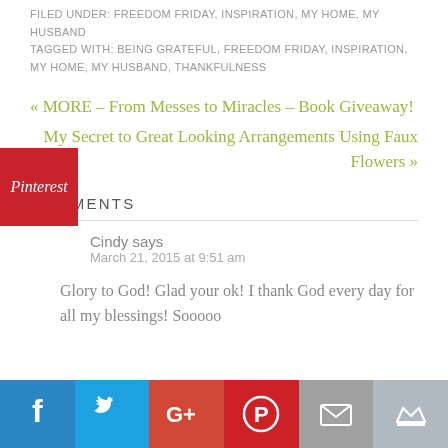FILED UNDER: FREEDOM FRIDAY, INSPIRATION, MY HOME, MY HUSBAND
TAGGED WITH: BEING GRATEFUL, FREEDOM FRIDAY, INSPIRATION, MY HOME, MY HUSBAND, THANKFULNESS
« MORE – From Messes to Miracles – Book Giveaway!
My Secret to Great Looking Arrangements Using Faux Flowers »
COMMENTS
Cindy says
March 21, 2015 at 9:51 am
Glory to God! Glad your ok! I thank God every day for all my blessings! Sooooo
[Figure (infographic): Social sharing bar with icons: Facebook (blue), Twitter (light blue), Google+ (red), Pinterest (red), Email (gray), Crown (blue-gray)]